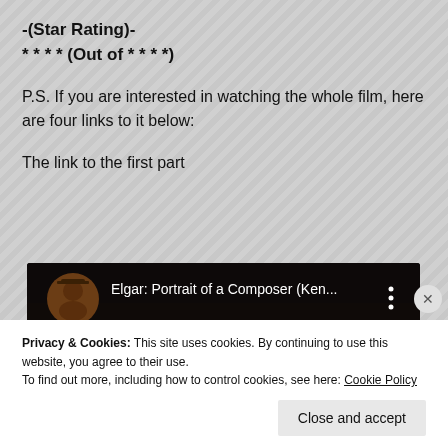-(Star Rating)-
* * * * (Out of * * * *)
P.S. If you are interested in watching the whole film, here are four links to it below:
The link to the first part
[Figure (screenshot): YouTube video thumbnail showing 'Elgar: Portrait of a Composer (Ken...' with a dark background and a circular avatar image on the left, three-dot menu on the right.]
Privacy & Cookies: This site uses cookies. By continuing to use this website, you agree to their use.
To find out more, including how to control cookies, see here: Cookie Policy
Close and accept